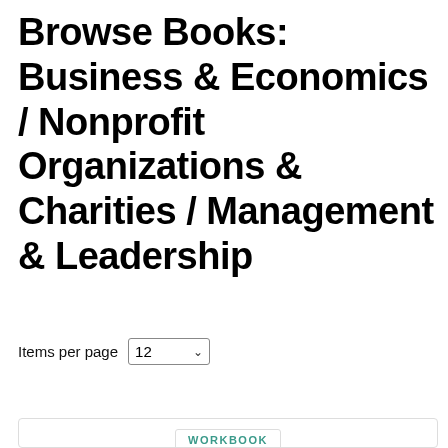Browse Books: Business & Economics / Nonprofit Organizations & Charities / Management & Leadership
Items per page  12  Apply
[Figure (screenshot): Partial book card showing 'WORKBOOK' badge and 'DARE TO' title text in gold/yellow]